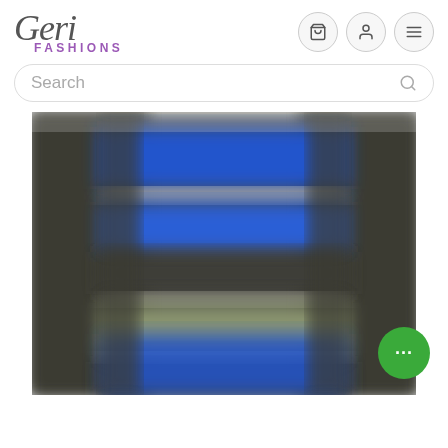[Figure (logo): Geri Fashions logo with italic serif Geri text and purple FASHIONS subtitle]
[Figure (screenshot): Navigation icons: shopping cart, user profile, and hamburger menu, each in circular bordered buttons]
Search
[Figure (photo): Blurred product photo of a striped sweater with blue, grey, green, and white horizontal stripes on dark grey body]
[Figure (other): Green circular chat/messaging button with three dots (ellipsis) in bottom right corner]